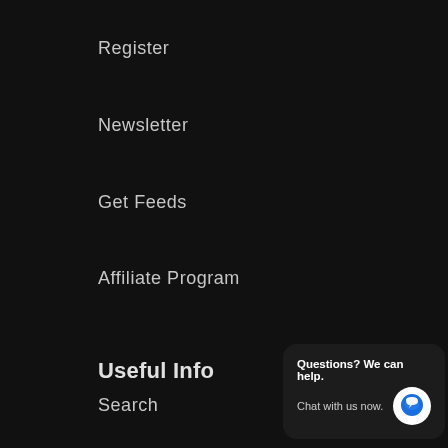Register
Newsletter
Get Feeds
Affiliate Program
Useful Info
Search
Contact us
Terms of servi…
Shipping policy
[Figure (other): Chat popup widget with text 'Questions? We can help. Chat with us now.' and a blue speech bubble icon]